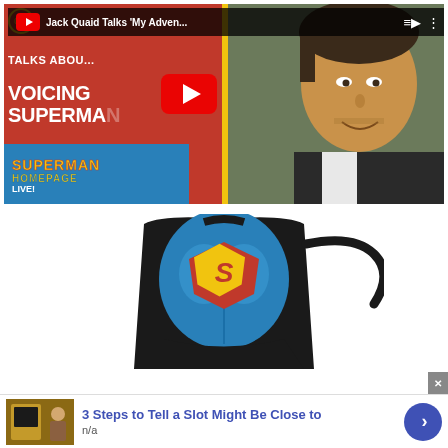[Figure (screenshot): YouTube video thumbnail showing Jack Quaid talking about voicing Superman in My Adventures with Superman. Left side has red background with white bold text 'JACK QUAID TALKS ABOUT VOICING SUPERMAN' and Superman Homepage logo. Right side shows Jack Quaid's face. A YouTube play button is overlaid in the center. Top bar shows channel icon and title 'Jack Quaid Talks My Adven...' with playlist and options icons.]
[Figure (photo): Superman-themed apron on white background. The apron is black with a Superman muscled chest graphic in blue with the iconic red and yellow Superman shield/logo on the chest. Black neck and waist ties visible.]
[Figure (screenshot): Infolinks advertisement banner. Dark blue 'infolinks' bar at top with close X button. Below: ad with thumbnail image of person in beige coat, bold blue title '3 Steps to Tell a Slot Might Be Close to', subtitle 'n/a', and a blue circular arrow button on the right.]